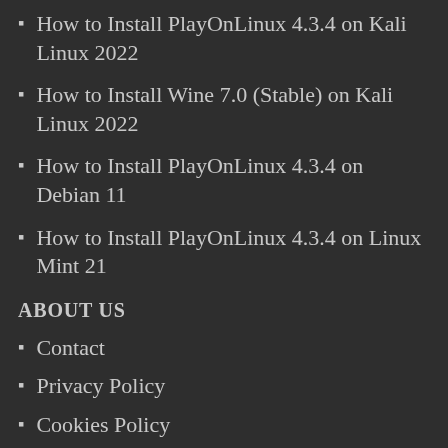How to Install PlayOnLinux 4.3.4 on Kali Linux 2022
How to Install Wine 7.0 (Stable) on Kali Linux 2022
How to Install PlayOnLinux 4.3.4 on Debian 11
How to Install PlayOnLinux 4.3.4 on Linux Mint 21
ABOUT US
Contact
Privacy Policy
Cookies Policy
Sitemap